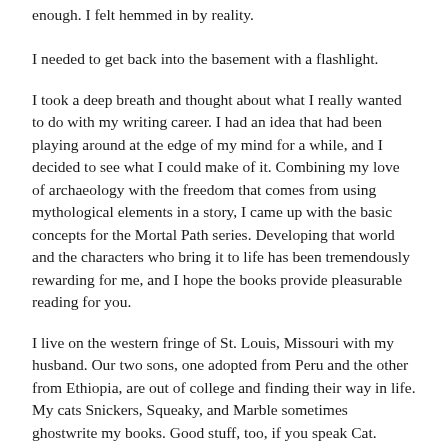enough. I felt hemmed in by reality.
I needed to get back into the basement with a flashlight.
I took a deep breath and thought about what I really wanted to do with my writing career. I had an idea that had been playing around at the edge of my mind for a while, and I decided to see what I could make of it. Combining my love of archaeology with the freedom that comes from using mythological elements in a story, I came up with the basic concepts for the Mortal Path series. Developing that world and the characters who bring it to life has been tremendously rewarding for me, and I hope the books provide pleasurable reading for you.
I live on the western fringe of St. Louis, Missouri with my husband. Our two sons, one adopted from Peru and the other from Ethiopia, are out of college and finding their way in life. My cats Snickers, Squeaky, and Marble sometimes ghostwrite my books. Good stuff, too, if you speak Cat.
I'm a member of International Thriller Writers, the Horror Writers Association, Mystery Writers of America, and the Science Fiction